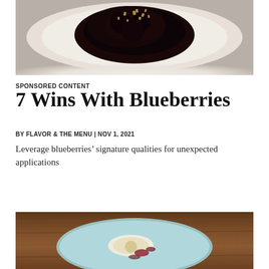[Figure (photo): Overhead view of a dessert with dark blueberry topping and chopped nuts on a white cream base, viewed from above on a grey surface]
SPONSORED CONTENT
7 Wins With Blueberries
BY FLAVOR & THE MENU | NOV 1, 2021
Leverage blueberries’ signature qualities for unexpected applications
[Figure (photo): A light blue plate on a wooden table with a dessert featuring blueberries and sauce]